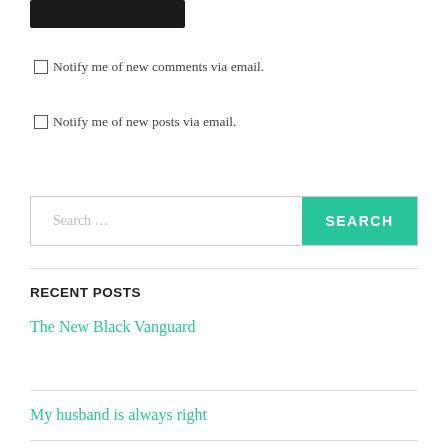[Figure (other): Black button/bar at the top of the page]
Notify me of new comments via email.
Notify me of new posts via email.
[Figure (other): Search input field with Search... placeholder and teal SEARCH button]
RECENT POSTS
The New Black Vanguard
My husband is always right